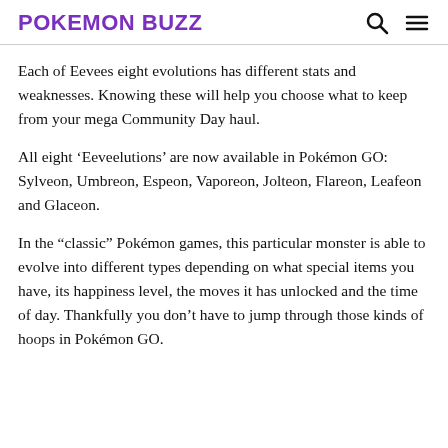POKEMON BUZZ
Each of Eevees eight evolutions has different stats and weaknesses. Knowing these will help you choose what to keep from your mega Community Day haul.
All eight ‘Eeveelutions’ are now available in Pokémon GO: Sylveon, Umbreon, Espeon, Vaporeon, Jolteon, Flareon, Leafeon and Glaceon.
In the “classic” Pokémon games, this particular monster is able to evolve into different types depending on what special items you have, its happiness level, the moves it has unlocked and the time of day. Thankfully you don’t have to jump through those kinds of hoops in Pokémon GO.